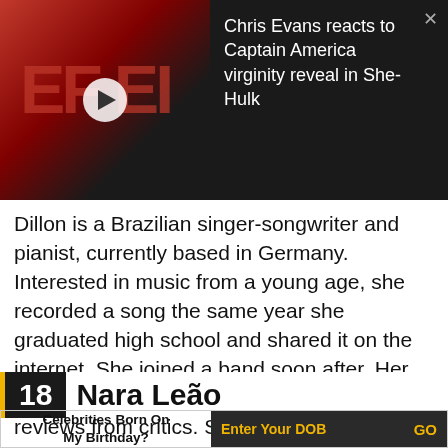[Figure (screenshot): Video thumbnail of a man wearing sunglasses in a dark jacket, with red background letters. Overlaid ad text reads: 'Chris Evans reacts to Captain America virginity reveal in She-Hulk' with a close button.]
Dillon is a Brazilian singer-songwriter and pianist, currently based in Germany. Interested in music from a young age, she recorded a song the same year she graduated high school and shared it on the internet. She joined a band soon after. Her music has received overwhelmingly positive reviews from critics. She has been compared to singers Björk and Lykke Li.
18   Nara Leão
Celebrities Born On My Birthday?   Enter Your DOB   GO